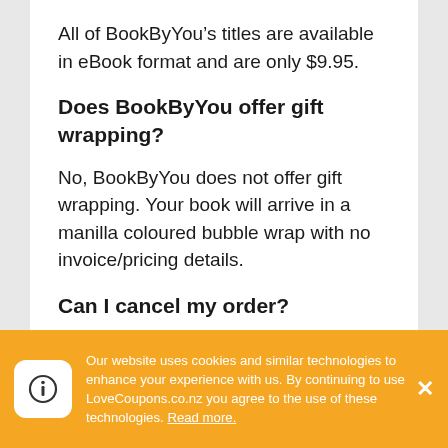All of BookByYou’s titles are available in eBook format and are only $9.95.
Does BookByYou offer gift wrapping?
No, BookByYou does not offer gift wrapping. Your book will arrive in a manilla coloured bubble wrap with no invoice/pricing details.
Can I cancel my order?
You may cancel your order at any time before production begins on your book. To cancel your order, please email your request with the order confirmation number or call BookByYou.
Our website uses cookies and similar technologies to enhance your experience with us. By continuing to use LoveCoupons.co.nz you agree to the use of these technologies. Read more.